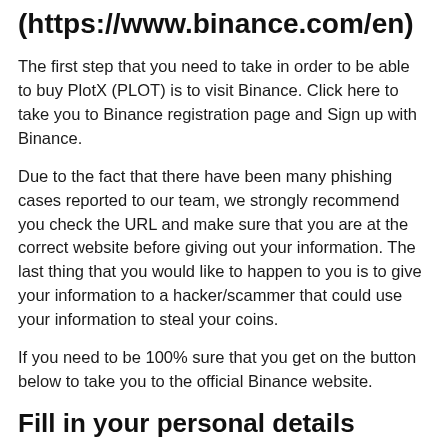(https://www.binance.com/en)
The first step that you need to take in order to be able to buy PlotX (PLOT) is to visit Binance. Click here to take you to Binance registration page and Sign up with Binance.
Due to the fact that there have been many phishing cases reported to our team, we strongly recommend you check the URL and make sure that you are at the correct website before giving out your information. The last thing that you would like to happen to you is to give your information to a hacker/scammer that could use your information to steal your coins.
If you need to be 100% sure that you get on the button below to take you to the official Binance website.
Fill in your personal details
Binance will need you to give them some details before you